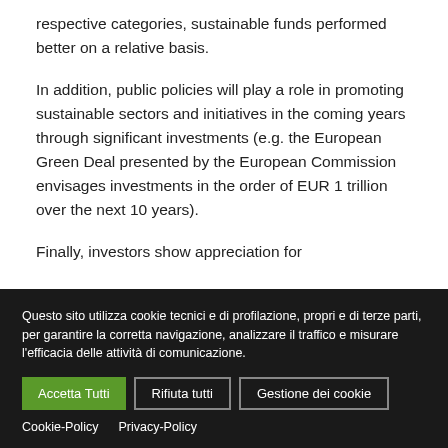respective categories, sustainable funds performed better on a relative basis.
In addition, public policies will play a role in promoting sustainable sectors and initiatives in the coming years through significant investments (e.g. the European Green Deal presented by the European Commission envisages investments in the order of EUR 1 trillion over the next 10 years).
Finally, investors show appreciation for
Questo sito utilizza cookie tecnici e di profilazione, propri e di terze parti, per garantire la corretta navigazione, analizzare il traffico e misurare l'efficacia delle attività di comunicazione.